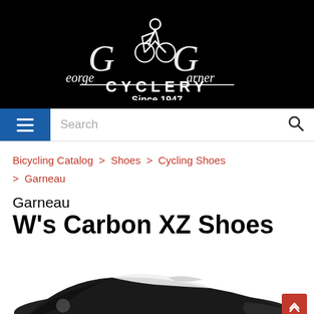[Figure (logo): George Garner Cyclery logo — white text and cyclist icon on black background, with 'Since 1947' below]
[Figure (other): Navigation bar with blue hamburger menu on left, search field, and search icon on right]
Bicycling Catalog > Shoes > Cycling Shoes > Garneau
Garneau W's Carbon XZ Shoes
[Figure (photo): Partial photo of black and white cycling shoes (Garneau W's Carbon XZ), shown from the side at an angle, cut off at bottom]